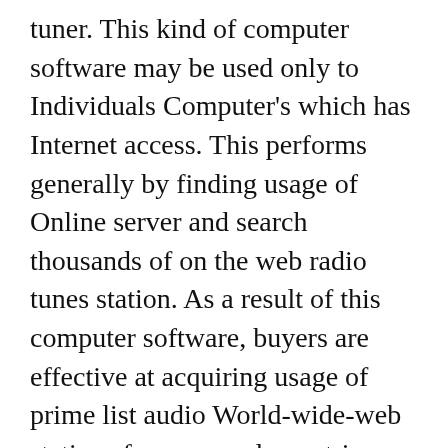tuner. This kind of computer software may be used only to Individuals Computer's which has Internet access. This performs generally by finding usage of Online server and search thousands of on the web radio tunes station. As a result of this computer software, buyers are effective at acquiring usage of prime list audio World-wide-web stations from several countries. Some are talk radio stations, whereby you'll be able to hear any Reside news fresh new from its region of origin.
The supply of Stay radio on Net will make men and women easier to tune in to their